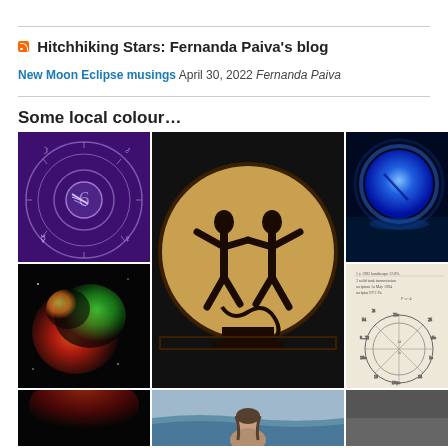Hitchhiking Stars: Fernanda Paiva's blog
New Moon Eclipse musings April 30, 2022 Fernanda Paiva
Some local colour…
[Figure (photo): Purple astrological wheel chart with zodiac symbols on dark purple background]
[Figure (photo): Ancient Greek black-figure pottery depicting wrestling figures on a circular medallion]
[Figure (photo): Blue glowing orb (Neptune or moon) over dark water]
[Figure (photo): Colorful galaxy or nebula with red and green hues on black background]
[Figure (photo): Handwritten astrological chart/diagram on white paper]
[Figure (photo): Woman on a beach with waves in background]